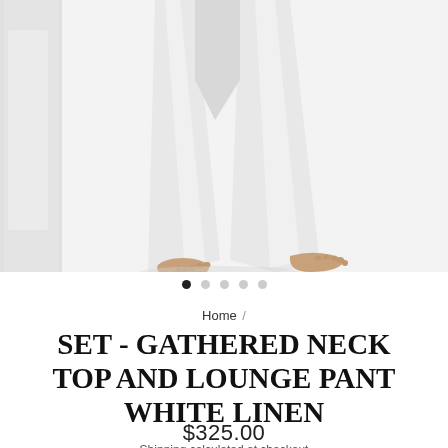[Figure (photo): Product photo showing a model wearing white linen wide-leg lounge pants, from the waist down, bare feet visible on a white background. Left edge shows a partial image panel.]
• • • • •  (5 carousel dots, first filled)
Home /
SET - GATHERED NECK TOP AND LOUNGE PANT WHITE LINEN
$325.00
Shipping calculated at checkout